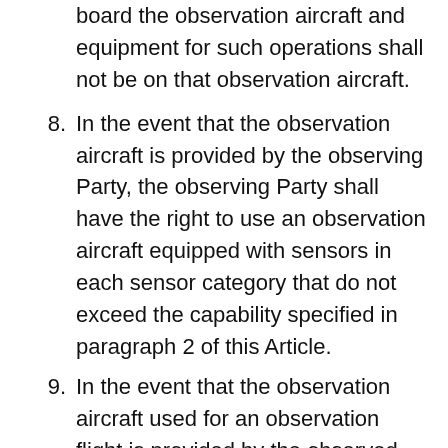(continuation) board the observation aircraft and equipment for such operations shall not be on that observation aircraft.
8. In the event that the observation aircraft is provided by the observing Party, the observing Party shall have the right to use an observation aircraft equipped with sensors in each sensor category that do not exceed the capability specified in paragraph 2 of this Article.
9. In the event that the observation aircraft used for an observation flight is provided by the observed